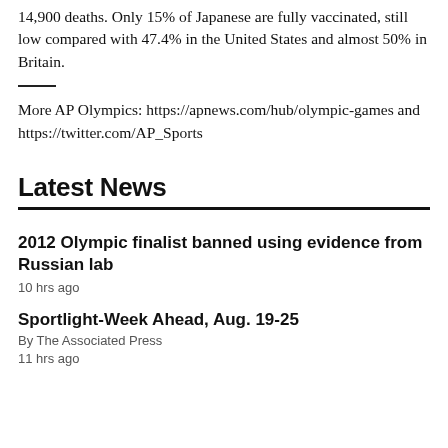14,900 deaths. Only 15% of Japanese are fully vaccinated, still low compared with 47.4% in the United States and almost 50% in Britain.
More AP Olympics: https://apnews.com/hub/olympic-games and https://twitter.com/AP_Sports
Latest News
2012 Olympic finalist banned using evidence from Russian lab
10 hrs ago
Sportlight-Week Ahead, Aug. 19-25
By The Associated Press
11 hrs ago